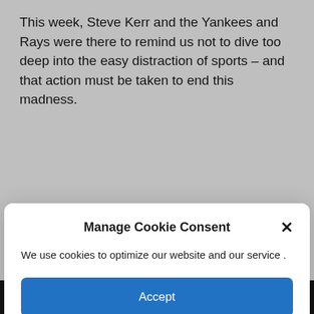This week, Steve Kerr and the Yankees and Rays were there to remind us not to dive too deep into the easy distraction of sports – and that action must be taken to end this madness.
[Figure (screenshot): Cookie consent modal dialog with title 'Manage Cookie Consent', close button (X), body text 'We use cookies to optimize our website and our service .', blue Accept button, and Cookie Policy link]
We use cookies to optimize our website and our service .
[Figure (screenshot): Social share bar with Facebook Share 1 button, Tweet button, Pinterest Save button, and count badge showing 0]